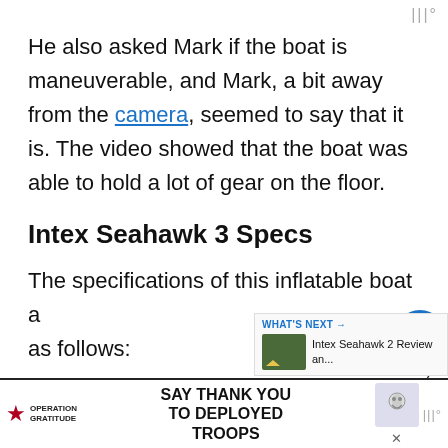|||°
He also asked Mark if the boat is maneuverable, and Mark, a bit away from the camera, seemed to say that it is. The video showed that the boat was able to hold a lot of gear on the floor.
Intex Seahawk 3 Specs
The specifications of this inflatable boat a as follows:
Length – 9 ft. and 8 in.
[Figure (other): Ad banner for Operation Gratitude: SAY THANK YOU TO DEPLOYED TROOPS with patriotic imagery and close button]